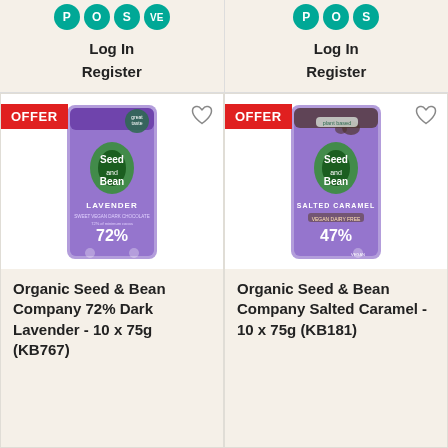[Figure (screenshot): POS logo circles left column with letters P O S V E]
Log In
Register
[Figure (screenshot): POS logo circles right column with letters P O S]
Log In
Register
[Figure (photo): Organic Seed & Bean Company 72% Dark Lavender chocolate bar, purple packaging, OFFER badge]
Organic Seed & Bean Company 72% Dark Lavender - 10 x 75g (KB767)
[Figure (photo): Organic Seed & Bean Company Salted Caramel chocolate bar, purple packaging, OFFER badge]
Organic Seed & Bean Company Salted Caramel - 10 x 75g (KB181)